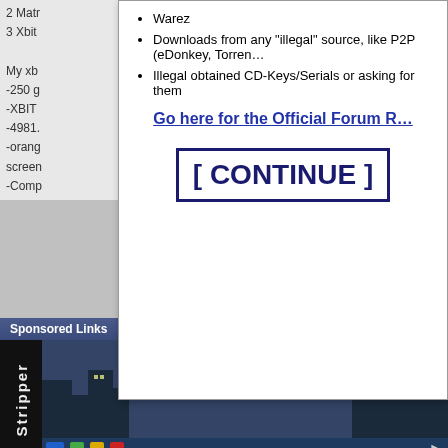2 Matr
3 Xbit
My xb
-250 g
-XBIT
-4981.
-orang
screen
-Comp
Warez
Downloads from any "illegal" source, like P2P (eDonkey, Torren…
Illegal obtained CD-Keys/Serials or asking for them
Go here for the Official Forum R…
[ CONTINUE ]
my problem...solved?!:
-one of my friends says he can get about 450 files off it!... and now i havent seen him for about 4 months..and ive written him like 11 emails.. WHERE THE HELL IS HE?! :mad:
[B]OWNED! <3 TylerDurden![/B]
Last edited by AXmichigan; 01-10-2004 at 12:25.
Sponsored Links
[Figure (screenshot): Advertisement banner showing a stylized video game character (woman in red) against a city skyline background, with 'Stripper' text on the left side and a Windows taskbar at the bottom]